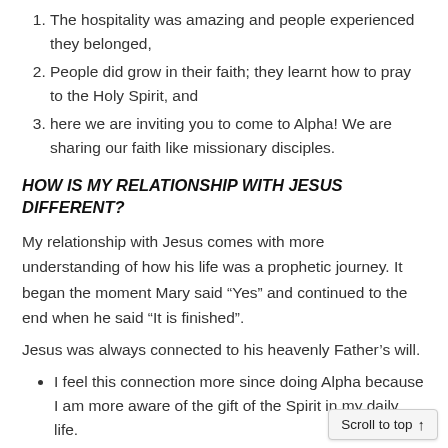1. The hospitality was amazing and people experienced they belonged,
2. People did grow in their faith; they learnt how to pray to the Holy Spirit, and
3. here we are inviting you to come to Alpha! We are sharing our faith like missionary disciples.
HOW IS MY RELATIONSHIP WITH JESUS DIFFERENT?
My relationship with Jesus comes with more understanding of how his life was a prophetic journey. It began the moment Mary said “Yes” and continued to the end when he said “It is finished”.
Jesus was always connected to his heavenly Father’s will.
I feel this connection more since doing Alpha because I am more aware of the gift of the Spirit in my daily life.